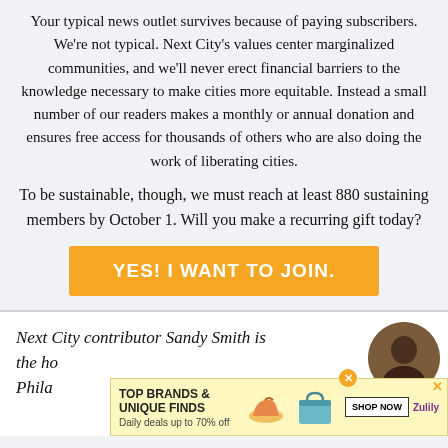Your typical news outlet survives because of paying subscribers. We're not typical. Next City's values center marginalized communities, and we'll never erect financial barriers to the knowledge necessary to make cities more equitable. Instead a small number of our readers makes a monthly or annual donation and ensures free access for thousands of others who are also doing the work of liberating cities.
To be sustainable, though, we must reach at least 880 sustaining members by October 1. Will you make a recurring gift today?
YES! I WANT TO JOIN.
Next City contributor Sandy Smith is the h... Phila...
[Figure (photo): Circular avatar photo of a person, dark-skinned, appears to be a man, partial view on lower right of page]
[Figure (infographic): Advertisement banner: 'TOP BRANDS & UNIQUE FINDS - Daily deals up to 70% off' with shoe and bag images, SHOP NOW button, Zulily branding. Yellow background.]